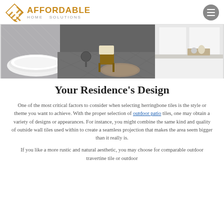Affordable
[Figure (photo): Bathroom interior with a freestanding white bathtub on the left, a wooden chair with a throw blanket in the center, and white cabinetry with a marble countertop on the right. Dark grey herringbone tile flooring with a woven rug.]
Your Residence's Design
One of the most critical factors to consider when selecting herringbone tiles is the style or theme you want to achieve. With the proper selection of outdoor patio tiles, one may obtain a variety of designs or appearances. For instance, you might combine the same kind and quality of outside wall tiles used within to create a seamless projection that makes the area seem bigger than it really is.
If you like a more rustic and natural aesthetic, you may choose for comparable outdoor travertine tile or outdoor